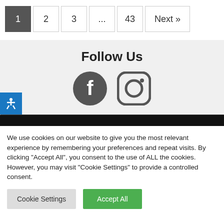[Figure (screenshot): Pagination bar with buttons: 1 (active/dark), 2, 3, ..., 43, Next »]
Follow Us
[Figure (illustration): Social media icons: Facebook and Instagram circle icons in dark gray]
We use cookies on our website to give you the most relevant experience by remembering your preferences and repeat visits. By clicking "Accept All", you consent to the use of ALL the cookies. However, you may visit "Cookie Settings" to provide a controlled consent.